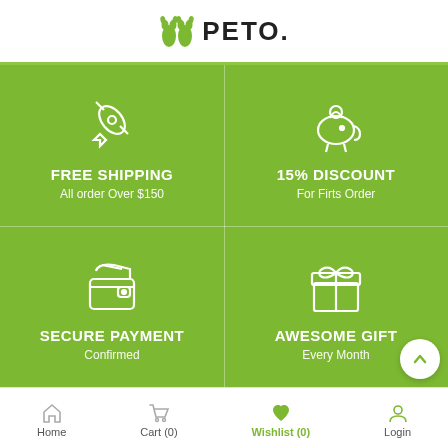PETO.
[Figure (infographic): Green promotional banner with four quadrants: Free Shipping (rocket icon, All order Over $150), 15% Discount (piggy bank icon, For Firts Order), Secure Payment (wallet icon, Confirmed), Awesome Gift (gift box icon, Every Month)]
Home   Cart (0)   Wishlist (0)   Login